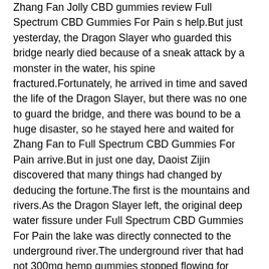Zhang Fan Jolly CBD gummies review Full Spectrum CBD Gummies For Pain s help.But just yesterday, the Dragon Slayer who guarded this bridge nearly died because of a sneak attack by a monster in the water, his spine fractured.Fortunately, he arrived in time and saved the life of the Dragon Slayer, but there was no one to guard the bridge, and there was bound to be a huge disaster, so he stayed here and waited for Zhang Fan to Full Spectrum CBD Gummies For Pain arrive.But in just one day, Daoist Zijin discovered that many things had changed by deducing the fortune.The first is the mountains and rivers.As the Dragon Slayer left, the original deep water fissure under Full Spectrum CBD Gummies For Pain the lake was directly connected to the underground river.The underground river that had not 300mg hemp gummies stopped flowing for hundreds of years was actually blocked.
And at this time, what is delta 8 cbd gummies Chen Churan, who stepped into the hall first, suddenly let out a scream Old blue moon hemp delta 8 gummies review Bai stood at the gate and violently shook the handle of the hall door.Unfortunately, the door seemed to be completely keoni cbd gummies ingredients welded to death